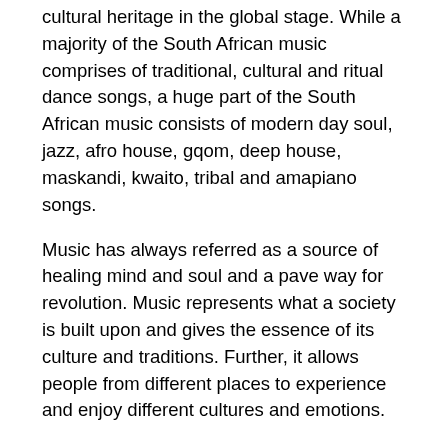cultural heritage in the global stage. While a majority of the South African music comprises of traditional, cultural and ritual dance songs, a huge part of the South African music consists of modern day soul, jazz, afro house, gqom, deep house, maskandi, kwaito, tribal and amapiano songs.
Music has always referred as a source of healing mind and soul and a pave way for revolution. Music represents what a society is built upon and gives the essence of its culture and traditions. Further, it allows people from different places to experience and enjoy different cultures and emotions.
Over the years, South Africa has become very popular with its rich and vibrant music. There is a long list of musicians and performers that come from different part of South Africa and fans love to indulge in different genres of music produced and sung by them. There have been a lot of musicians that have become a part of the South African music industry, it includes Hugh Masekela, Miriam Makeba, Die Antwoord, etc. who have produced music of multiple genres. Samsonghiphop provides a long list of music differentiated into different albums. You also